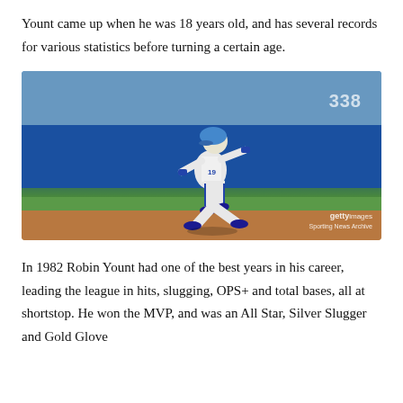Yount came up when he was 18 years old, and has several records for various statistics before turning a certain age.
[Figure (photo): Robin Yount in Milwaukee Brewers uniform running on a baseball field, photo from Getty Images / Sporting News Archive]
In 1982 Robin Yount had one of the best years in his career, leading the league in hits, slugging, OPS+ and total bases, all at shortstop. He won the MVP, and was an All Star, Silver Slugger and Gold Glove